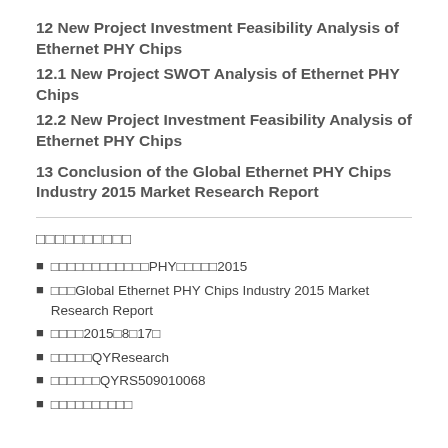12 New Project Investment Feasibility Analysis of Ethernet PHY Chips
12.1 New Project SWOT Analysis of Ethernet PHY Chips
12.2 New Project Investment Feasibility Analysis of Ethernet PHY Chips
13 Conclusion of the Global Ethernet PHY Chips Industry 2015 Market Research Report
□□□□□□□□□□
■ □□□□□□□□□□□□PHY□□□□□2015
■ □□□Global Ethernet PHY Chips Industry 2015 Market Research Report
■ □□□□2015□8□17□
■ □□□□□QYResearch
■ □□□□□□QYRS509010068
■ □□□□□□□□□□